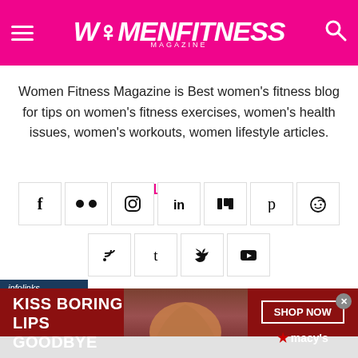Women Fitness Magazine
Women Fitness Magazine is Best women's fitness blog for tips on women's fitness exercises, women's health issues, women's workouts, women lifestyle articles.
FOLLOW US
[Figure (infographic): Social media icons grid: Facebook, Flickr, Instagram, LinkedIn, Mix, Pinterest, Reddit (row 1); RSS, Tumblr, Twitter, YouTube (row 2)]
[Figure (infographic): infolinks ad label bar in dark blue]
[Figure (infographic): Macy's advertisement banner: KISS BORING LIPS GOODBYE with SHOP NOW button and Macy's star logo on dark red background with woman's face]